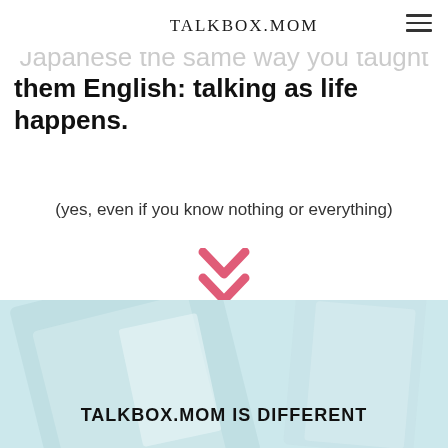TALKBOX.MOM
you need to teach your children Japanese the same way you taught them English: talking as life happens.
(yes, even if you know nothing or everything)
[Figure (illustration): Pink double chevron / down-arrow icon]
[Figure (photo): Light blue/teal background with diagonal white/light shapes]
TALKBOX.MOM IS DIFFERENT